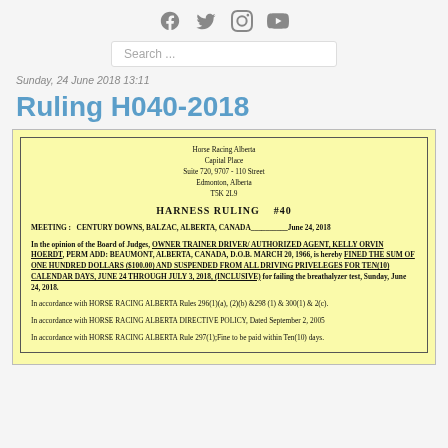[Figure (other): Social media icons: Facebook, Twitter, Instagram, YouTube]
Search ...
Sunday, 24 June 2018 13:11
Ruling H040-2018
[Figure (other): Scanned ruling document on yellow paper. Horse Racing Alberta, Capital Place, Suite 720, 9707 - 110 Street, Edmonton, Alberta, T5K 2L9. HARNESS RULING #40. MEETING: CENTURY DOWNS, BALZAC, ALBERTA, CANADA June 24, 2018. In the opinion of the Board of Judges, OWNER TRAINER DRIVER/ AUTHORIZED AGENT, KELLY ORVIN HOERDT, PERM ADD: BEAUMONT, ALBERTA, CANADA, D.O.B. MARCH 20, 1966, is hereby FINED THE SUM OF ONE HUNDRED DOLLARS ($100.00) AND SUSPENDED FROM ALL DRIVING PRIVELEGES FOR TEN(10) CALENDAR DAYS, JUNE 24 THROUGH JULY 3, 2018, (INCLUSIVE) for failing the breathalyzer test, Sunday, June 24, 2018. In accordance with HORSE RACING ALBERTA Rules 296(1)(a), (2)(b) &298 (1) & 300(1) & 2(c). In accordance with HORSE RACING ALBERTA DIRECTIVE POLICY, Dated September 2, 2005. In accordance with HORSE RACING ALBERTA Rule 297(1);Fine to be paid within Ten(10) days.]